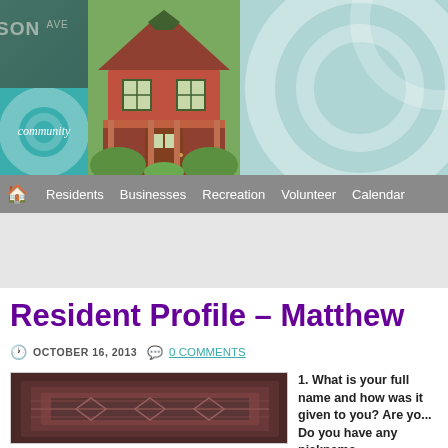[Figure (photo): Community website header banner with street sign showing 'SON AVE', Victorian red house photo, teal community box, and teal decorative circle design on right]
Residents  Businesses  Recreation  Volunteer  Calendar
Resident Profile – Matthew
OCTOBER 16, 2013   0 COMMENTS
[Figure (photo): Dark red/maroon decorative rug or textile thumbnail photo]
1. What is your full name and how was it given to you? Are yo... Do you have any nicknames...